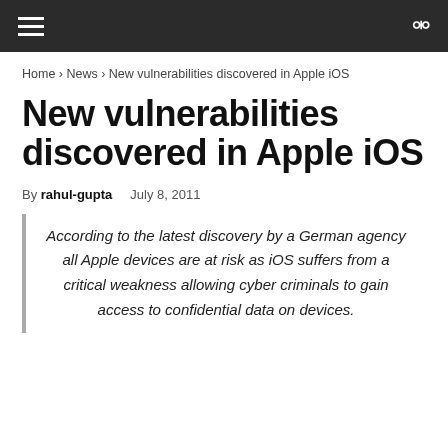≡  🔍
Home › News › New vulnerabilities discovered in Apple iOS
New vulnerabilities discovered in Apple iOS
By rahul-gupta   July 8, 2011
According to the latest discovery by a German agency all Apple devices are at risk as iOS suffers from a critical weakness allowing cyber criminals to gain access to confidential data on devices.